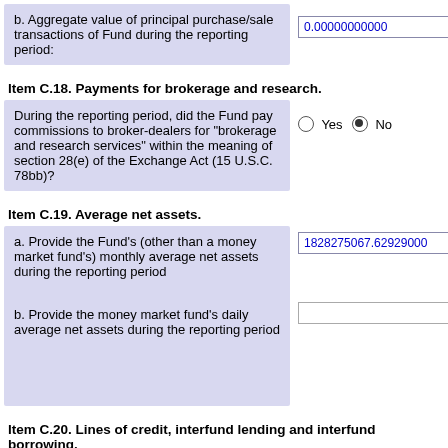b. Aggregate value of principal purchase/sale transactions of Fund during the reporting period:
0.00000000000
Item C.18. Payments for brokerage and research.
During the reporting period, did the Fund pay commissions to broker-dealers for "brokerage and research services" within the meaning of section 28(e) of the Exchange Act (15 U.S.C. 78bb)?
Yes No (No selected)
Item C.19. Average net assets.
a. Provide the Fund's (other than a money market fund's) monthly average net assets during the reporting period
1828275067.62929000
b. Provide the money market fund's daily average net assets during the reporting period
Item C.20. Lines of credit, interfund lending and interfund borrowing.
For open-end management investment companies, respond to the following: